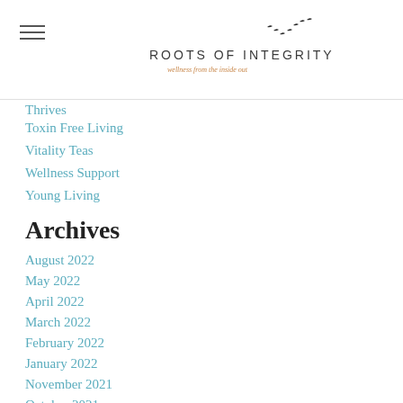Roots of Integrity — wellness from the inside out
Thrives
Toxin Free Living
Vitality Teas
Wellness Support
Young Living
Archives
August 2022
May 2022
April 2022
March 2022
February 2022
January 2022
November 2021
October 2021
August 2021
May 2021
April 2021